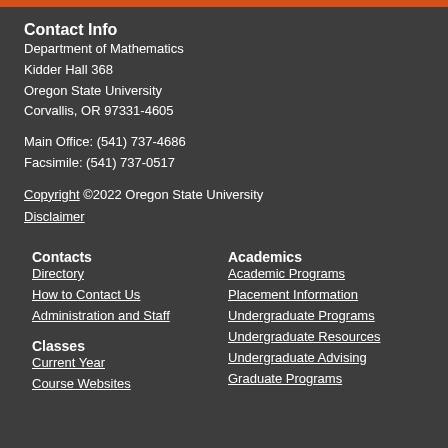Contact Info
Department of Mathematics
Kidder Hall 368
Oregon State University
Corvallis, OR 97331-4605
Main Office: (541) 737-4686
Facsimile: (541) 737-0517
Copyright ©2022 Oregon State University
Disclaimer
Contacts
Directory
How to Contact Us
Administration and Staff
Classes
Current Year
Course Websites
Academics
Academic Programs
Placement Information
Undergraduate Programs
Undergraduate Resources
Undergraduate Advising
Graduate Programs